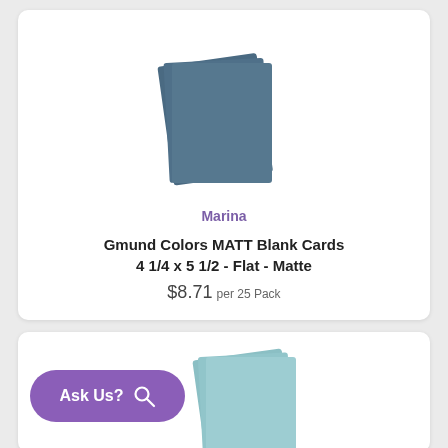[Figure (photo): Stack of dark blue-grey Marina colored flat blank cards shown as a product image]
Marina
Gmund Colors MATT Blank Cards 4 1/4 x 5 1/2 - Flat - Matte
$8.71 per 25 Pack
[Figure (photo): Stack of light teal/aqua colored flat blank cards shown as a product image (partially visible)]
Ask Us?